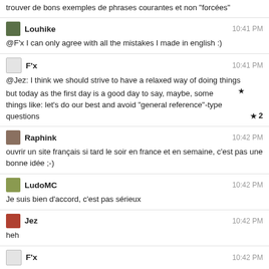trouver de bons exemples de phrases courantes et non "forcées"
Louhike 10:41 PM
@F'x I can only agree with all the mistakes I made in english :)
F'x 10:41 PM
@Jez: I think we should strive to have a relaxed way of doing things
but today as the first day is a good day to say, maybe, some things like: let's do our best and avoid "general reference"-type questions ★2
Raphink 10:42 PM
ouvrir un site français si tard le soir en france et en semaine, c'est pas une bonne idée ;-)
LudoMC 10:42 PM
Je suis bien d'accord, c'est pas sérieux
Jez 10:42 PM
heh
F'x 10:42 PM
we won't have to close lots of questions if they're not asked, because there aren't any to begin with
Raphink 10:42 PM
à part ceux qui ont déjà 215 de réputation pour aujourd'hui, tout le monde va se coucher trop tard